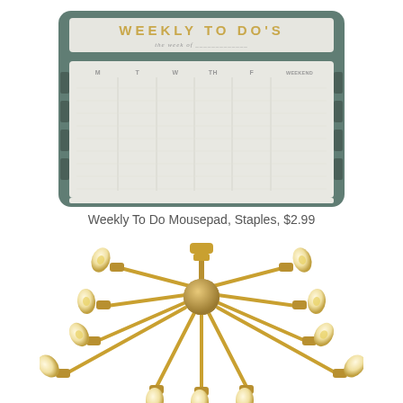[Figure (photo): Weekly To Do Mousepad with dark teal/grey border, gold lettering 'WEEKLY TO DO'S', columns for M, T, W, TH, F, WEEKEND]
Weekly To Do Mousepad, Staples, $2.99
[Figure (photo): Gold sputnik/starburst chandelier with multiple arms and Edison bulbs, photographed from below]